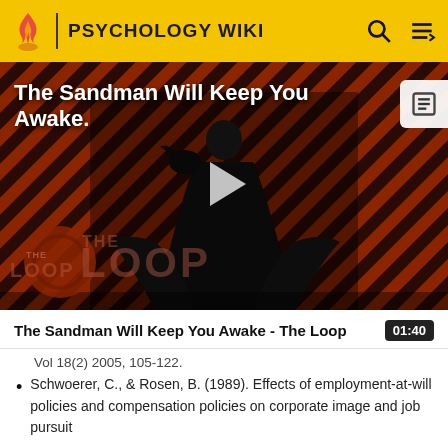PSYCHOLOGY WIKI
[Figure (screenshot): Video thumbnail for 'The Sandman Will Keep You Awake - The Loop' showing a dark-cloaked figure against a diagonal striped red/dark background with 'THE LOOP' watermark and a play button overlay.]
The Sandman Will Keep You Awake - The Loop  01:40
Vol 18(2) 2005, 105-122.
Schwoerer, C., & Rosen, B. (1989). Effects of employment-at-will policies and compensation policies on corporate image and job pursuit